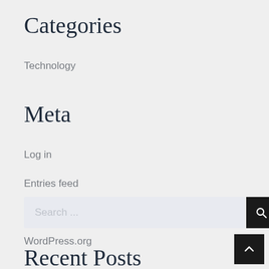Categories
Technology
Meta
Log in
Entries feed
Comments feed
WordPress.org
Search ...
Recent Posts